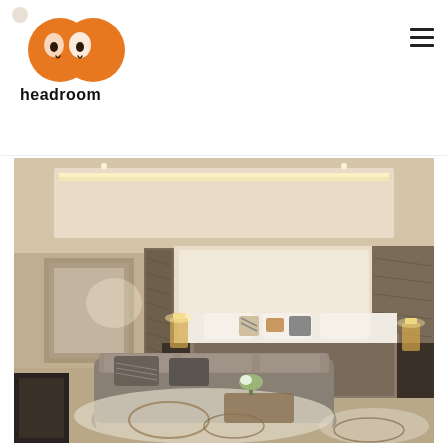[Figure (logo): Headroom logo with two orange circular face shapes and text 'headroom' below]
[Figure (photo): Luxurious hotel bedroom interior with neutral tones, tray ceiling with LED lighting, large bed with decorative pillows, grey sofa, ornate area rug, stone accent walls, and lamps on bedside tables]